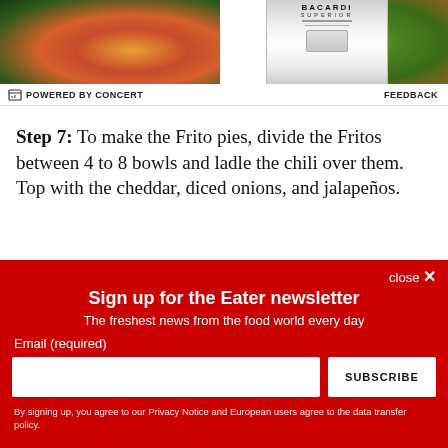[Figure (photo): Advertisement image showing mangoes and tropical fruit on the left, a Bacardi Superior rum bottle in the center-right, and tropical palm leaves on the right, with a red banner at the top.]
POWERED BY CONCERT   FEEDBACK
Step 7: To make the Frito pies, divide the Fritos between 4 to 8 bowls and ladle the chili over them. Top with the cheddar, diced onions, and jalapeños.
close ×
Sign up for the Eater newsletter
The freshest news from the food world every day
Email (required)
SUBSCRIBE
By signing up, you agree to our Privacy Notice and European users agree to the data transfer policy.